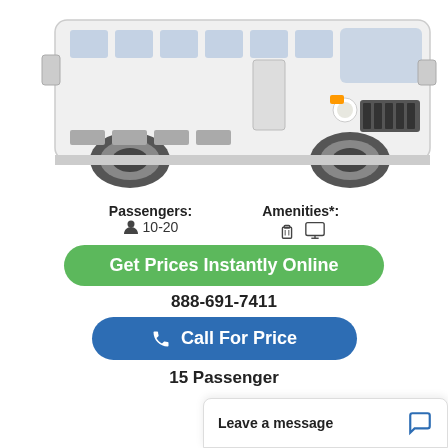[Figure (photo): White shuttle/minibus vehicle, front and side view, on white background]
Passengers: 👤 10-20
Amenities*: 🧳 🖥
Get Prices Instantly Online
888-691-7411
📞 Call For Price
15 Passenger
Leave a message